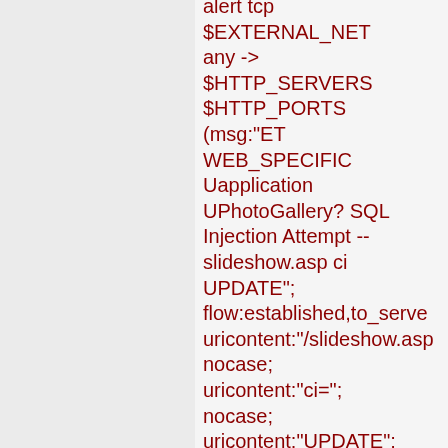alert tcp $EXTERNAL_NET any -> $HTTP_SERVERS $HTTP_PORTS (msg:"ET WEB_SPECIFIC Uapplication UPhotoGallery? SQL Injection Attempt -- slideshow.asp ci UPDATE"; flow:established,to_server; uricontent:"/slideshow.asp"; nocase; uricontent:"ci="; nocase; uricontent:"UPDATE"; nocase; pcre:"/.+UPDATE.+SET/U; classtype:web-application-attack; reference:cve,CVE-2006-6247;